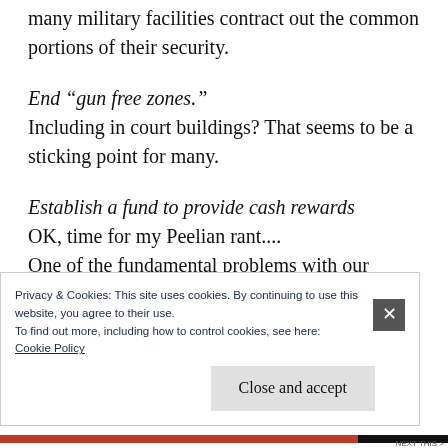many military facilities contract out the common portions of their security.
End “gun free zones.” Including in court buildings? That seems to be a sticking point for many.
Establish a fund to provide cash rewards OK, time for my Peelian rant.... One of the fundamental problems with our current arrangement is a pervasive belief (even
Privacy & Cookies: This site uses cookies. By continuing to use this website, you agree to their use.
To find out more, including how to control cookies, see here:
Cookie Policy
Close and accept